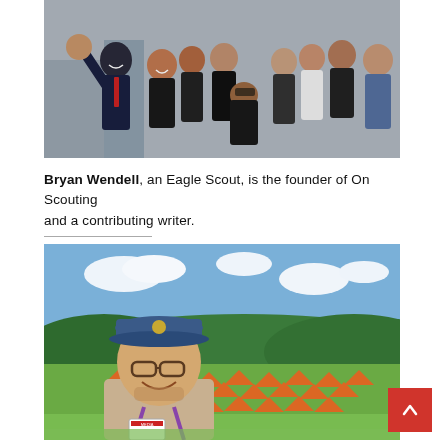[Figure (photo): Group photo of Bryan Wendell with a group of young scouts and adults, smiling and posing together outdoors on a bridge or elevated walkway.]
Bryan Wendell, an Eagle Scout, is the founder of On Scouting and a contributing writer.
[Figure (photo): Selfie of Bryan Wendell wearing a blue cap and media lanyard, with a large field of orange tents and green hills in the background at a scouting jamboree.]